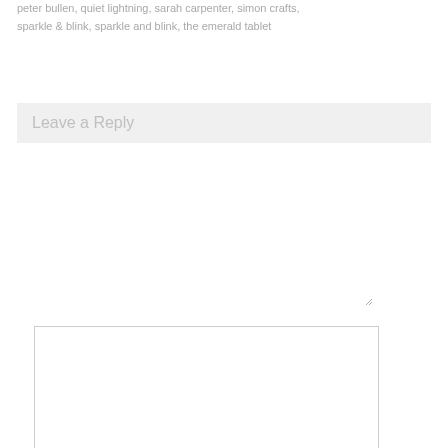peter bullen, quiet lightning, sarah carpenter, simon crafts, sparkle & blink, sparkle and blink, the emerald tablet
Leave a Reply
[Comment textarea]
Name *
Email *
[URL input]